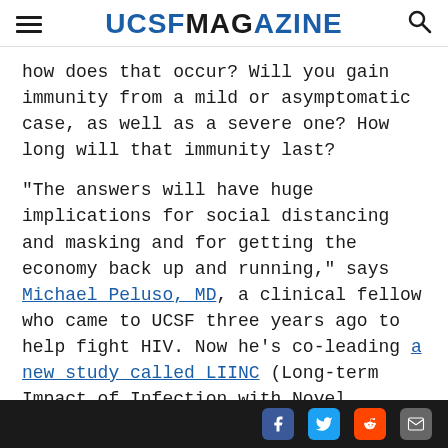UCSF MAGAZINE
how does that occur? Will you gain immunity from a mild or asymptomatic case, as well as a severe one? How long will that immunity last?
“The answers will have huge implications for social distancing and masking and for getting the economy back up and running,” says Michael Peluso, MD, a clinical fellow who came to UCSF three years ago to help fight HIV. Now he’s co-leading a new study called LIINC (Long-term Impact of Infection with Novel Coronavirus), which is enrolling people who have been infected with SARS-CoV-2 and will follow them for two years. Besides illuminating changes in immunity over time, LIINC is investigating chronic effects of infection...
Facebook Twitter Reddit Email